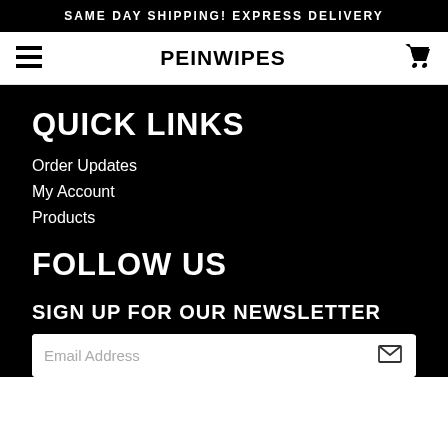SAME DAY SHIPPING! EXPRESS DELIVERY
PEINWIPES
QUICK LINKS
Order Updates
My Account
Products
FOLLOW US
SIGN UP FOR OUR NEWSLETTER
Email Address